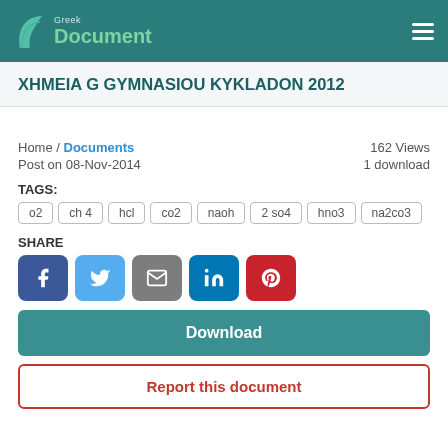Greek Document
XHMEIA G GYMNASIOU KYKLADON 2012
Home / Documents   162 Views
Post on 08-Nov-2014   1 download
TAGS:
o2
ch 4
hcl
co2
naoh
2 so4
hno3
na2co3
SHARE
Download
Report this document